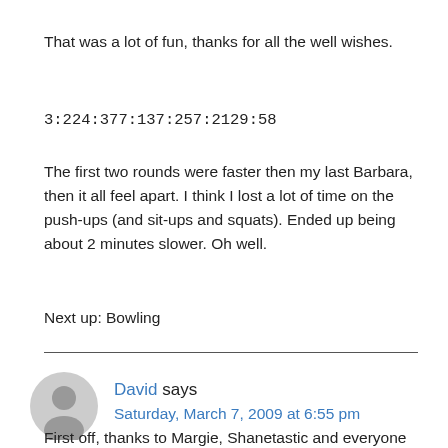That was a lot of fun, thanks for all the well wishes.
3:224:377:137:257:2129:58
The first two rounds were faster then my last Barbara, then it all feel apart. I think I lost a lot of time on the push-ups (and sit-ups and squats). Ended up being about 2 minutes slower. Oh well.
Next up: Bowling
David says
Saturday, March 7, 2009 at 6:55 pm
First off, thanks to Margie, Shanetastic and everyone else who pitched in and got the space ready for class. About